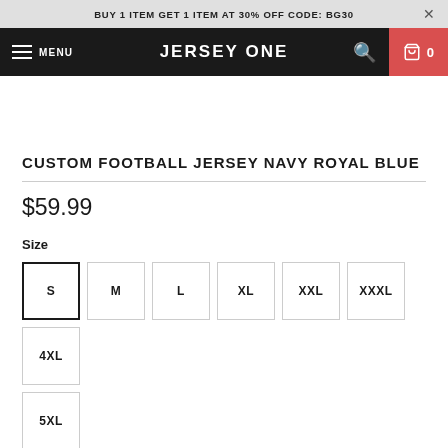BUY 1 ITEM GET 1 ITEM AT 30% OFF CODE: BG30
JERSEY ONE  MENU  0
CUSTOM FOOTBALL JERSEY NAVY ROYAL BLUE
$59.99
Size
S
M
L
XL
XXL
XXXL
4XL
5XL